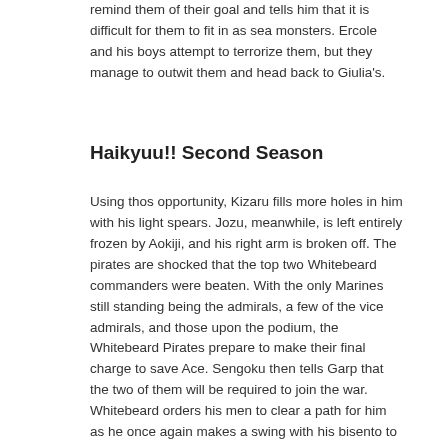remind them of their goal and tells him that it is difficult for them to fit in as sea monsters. Ercole and his boys attempt to terrorize them, but they manage to outwit them and head back to Giulia's.
Haikyuu!! Second Season
Using thos opportunity, Kizaru fills more holes in him with his light spears. Jozu, meanwhile, is left entirely frozen by Aokiji, and his right arm is broken off. The pirates are shocked that the top two Whitebeard commanders were beaten. With the only Marines still standing being the admirals, a few of the vice admirals, and those upon the podium, the Whitebeard Pirates prepare to make their final charge to save Ace. Sengoku then tells Garp that the two of them will be required to join the war. Whitebeard orders his men to clear a path for him as he once again makes a swing with his bisento to create another earthquake.
[Figure (illustration): Author avatar: circular grey silhouette of a person (head and shoulders) on a light grey background]
mariahelena
Related posts